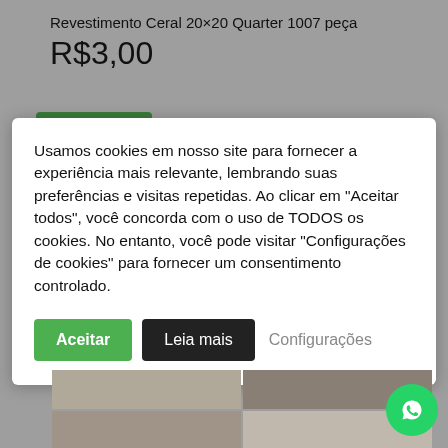Revestimento Ceral 20×20 Quarter 1007 peça
R$3,00
Usamos cookies em nosso site para fornecer a experiência mais relevante, lembrando suas preferências e visitas repetidas. Ao clicar em "Aceitar todos", você concorda com o uso de TODOS os cookies. No entanto, você pode visitar "Configurações de cookies" para fornecer um consentimento controlado.
[Figure (screenshot): Cookie consent modal with Aceitar, Leia mais, and Configurações buttons on a product page]
[Figure (photo): Grid of four sepia-toned urban/landmark photos at the bottom of the page]